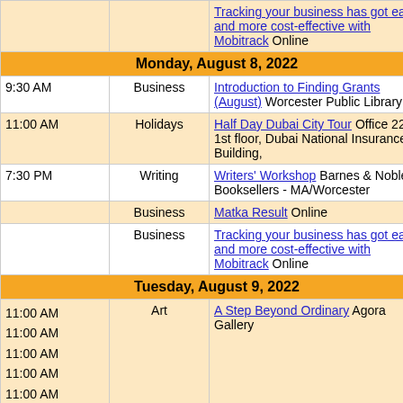| Time | Category | Event |
| --- | --- | --- |
|  |  | Tracking your business has got easier and more cost-effective with Mobitrack Online |
| Monday, August 8, 2022 |  |  |
| 9:30 AM | Business | Introduction to Finding Grants (August) Worcester Public Library |
| 11:00 AM | Holidays | Half Day Dubai City Tour Office 22, 1st floor, Dubai National Insurance Building, |
| 7:30 PM | Writing | Writers' Workshop Barnes & Noble Booksellers - MA/Worcester |
|  | Business | Matka Result Online |
|  | Business | Tracking your business has got easier and more cost-effective with Mobitrack Online |
| Tuesday, August 9, 2022 |  |  |
| 11:00 AM 11:00 AM 11:00 AM 11:00 AM 11:00 AM | Art | A Step Beyond Ordinary Agora Gallery |
| 11:00 AM | Holidays | Half Day Dubai City Tour Office |